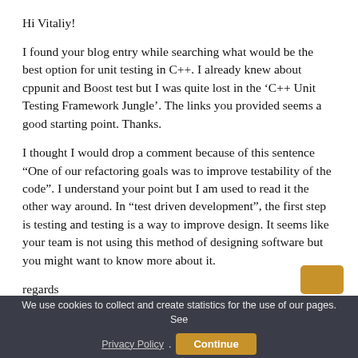Hi Vitaliy!
I found your blog entry while searching what would be the best option for unit testing in C++. I already knew about cppunit and Boost test but I was quite lost in the ‘C++ Unit Testing Framework Jungle’. The links you provided seems a good starting point. Thanks.
I thought I would drop a comment because of this sentence “One of our refactoring goals was to improve testability of the code”. I understand your point but I am used to read it the other way around. In “test driven development”, the first step is testing and testing is a way to improve design. It seems like your team is not using this method of designing software but you might want to know more about it.
regards
Bertrand Dechoux
We use cookies to collect and create statistics for the use of our pages. See Privacy Policy. Continue